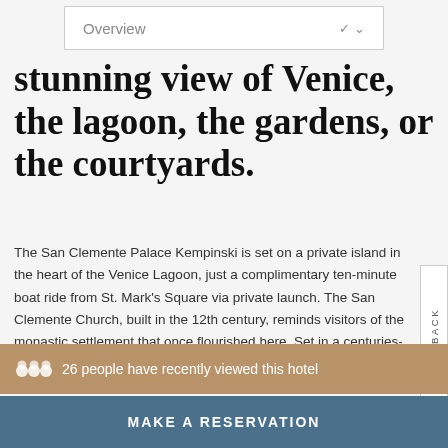Overview
stunning view of Venice, the lagoon, the gardens, or the courtyards.
The San Clemente Palace Kempinski is set on a private island in the heart of the Venice Lagoon, just a complimentary ten-minute boat ride from St. Mark's Square via private launch. The San Clemente Church, built in the 12th century, reminds visitors of the monastic settlement that once flourished here. Set in a centuries-old park and featuring antique courtyards, the hotel is the most fascinating with all...
26 people have recently viewed this hotel
MAKE A RESERVATION